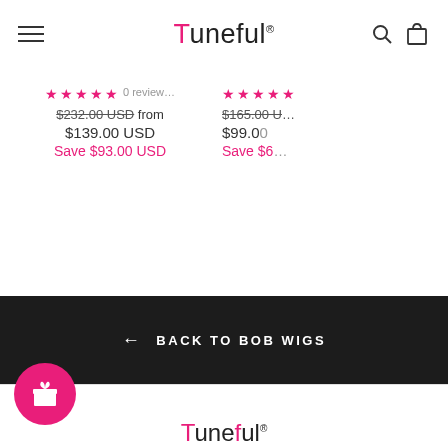Tuneful
$232.00 USD from $139.00 USD Save $93.00 USD
$165.00 USD $99.00 Save $6
← BACK TO BOB WIGS
[Figure (logo): Tuneful logo at bottom of page]
[Figure (illustration): Pink gift/rewards button icon]